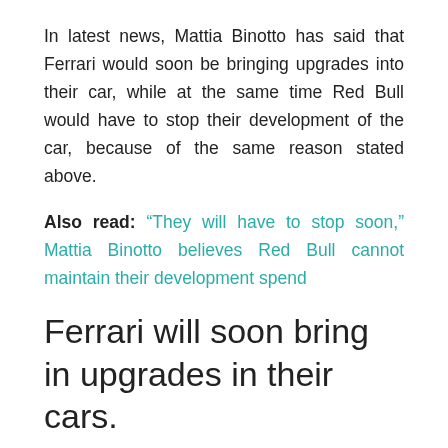In latest news, Mattia Binotto has said that Ferrari would soon be bringing upgrades into their car, while at the same time Red Bull would have to stop their development of the car, because of the same reason stated above.
Also read: “They will have to stop soon,” Mattia Binotto believes Red Bull cannot maintain their development spend
Ferrari will soon bring in upgrades in their cars.